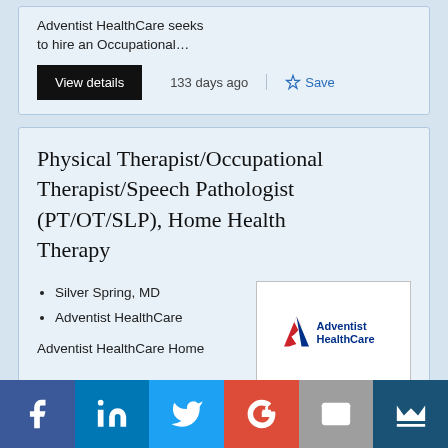Adventist HealthCare seeks to hire an Occupational…
View details
133 days ago
Save
Physical Therapist/Occupational Therapist/Speech Pathologist (PT/OT/SLP), Home Health Therapy
Silver Spring, MD
Adventist HealthCare
[Figure (logo): Adventist HealthCare logo with stylized 'A' in red, white and blue and text 'Adventist HealthCare']
Adventist HealthCare Home
[Figure (infographic): Social media sharing bar with Facebook, LinkedIn, Twitter, Google+, Email, and crown/bookmark icons]